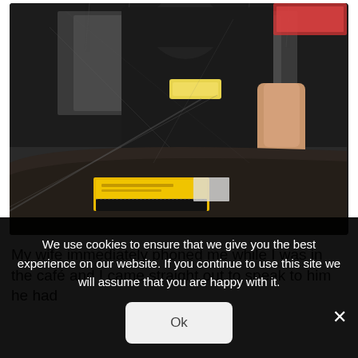[Figure (photo): Photo taken from inside a car showing a parking warden/enforcement officer outside placing a yellow parking ticket/notice on the car windscreen. The officer is wearing dark uniform. The yellow ticket envelope is visible on the windscreen.]
My wife immediately phoned me while I was in the café and I came straight out to speak to him he had
We use cookies to ensure that we give you the best experience on our website. If you continue to use this site we will assume that you are happy with it.